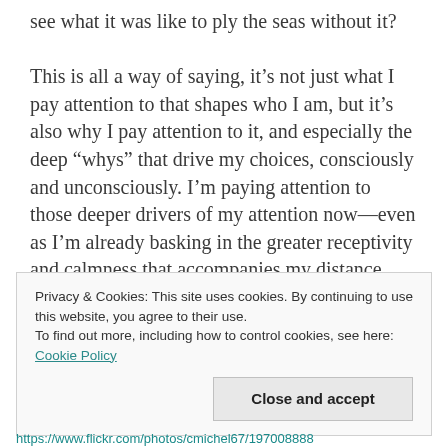see what it was like to ply the seas without it?

This is all a way of saying, it’s not just what I pay attention to that shapes who I am, but it’s also why I pay attention to it, and especially the deep “whys” that drive my choices, consciously and unconsciously. I’m paying attention to those deeper drivers of my attention now—even as I’m already basking in the greater receptivity and calmness that accompanies my distance from the hum of the hyperactive hive mind.
Privacy & Cookies: This site uses cookies. By continuing to use this website, you agree to their use.
To find out more, including how to control cookies, see here: Cookie Policy
Close and accept
https://www.flickr.com/photos/cmichel67/19700888...